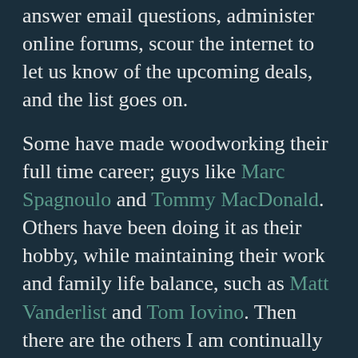answer email questions, administer online forums, scour the internet to let us know of the upcoming deals, and the list goes on.
Some have made woodworking their full time career; guys like Marc Spagnoulo and Tommy MacDonald. Others have been doing it as their hobby, while maintaining their work and family life balance, such as Matt Vanderlist and Tom Iovino. Then there are the others I am continually discovering, such as Shannon Rogers, Kari Hultman, David Pruett, and so many others.  All these people who create content and share their knowledge and ideas, and those who offer their insight via sites like LumberJocks, other community forums, and their blogs and posts, the bottom row of the...